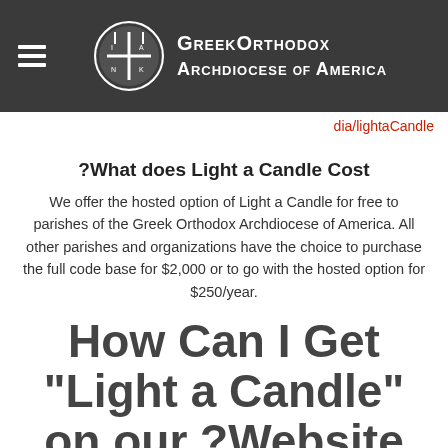Greek Orthodox Archdiocese of America
dia/lightaCandle
?What does Light a Candle Cost
We offer the hosted option of Light a Candle for free to parishes of the Greek Orthodox Archdiocese of America. All other parishes and organizations have the choice to purchase the full code base for $2,000 or to go with the hosted option for $250/year.
How Can I Get "Light a Candle" on our ?Website